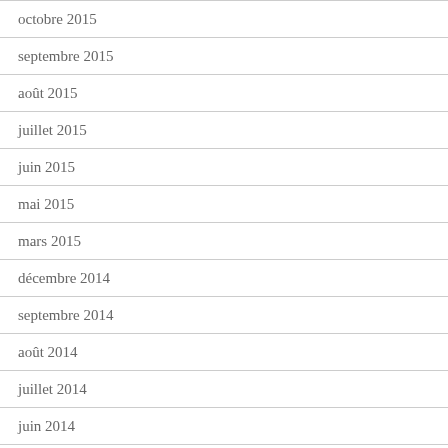octobre 2015
septembre 2015
août 2015
juillet 2015
juin 2015
mai 2015
mars 2015
décembre 2014
septembre 2014
août 2014
juillet 2014
juin 2014